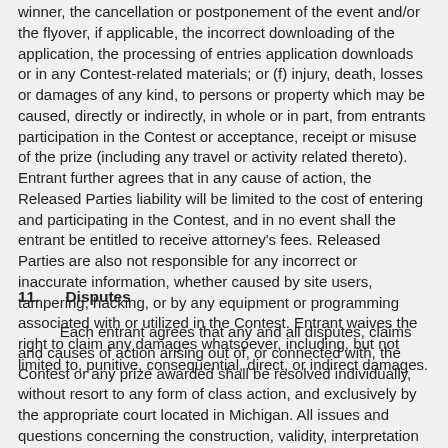occur in the administration of the Contest, the announcement of the winner, the cancellation or postponement of the event and/or the flyover, if applicable, the incorrect downloading of the application, the processing of entries application downloads or in any Contest-related materials; or (f) injury, death, losses or damages of any kind, to persons or property which may be caused, directly or indirectly, in whole or in part, from entrants participation in the Contest or acceptance, receipt or misuse of the prize (including any travel or activity related thereto). Entrant further agrees that in any cause of action, the Released Parties liability will be limited to the cost of entering and participating in the Contest, and in no event shall the entrant be entitled to receive attorney's fees. Released Parties are also not responsible for any incorrect or inaccurate information, whether caused by site users, tampering, hacking, or by any equipment or programming associated with or utilized in the Contest. Entrant waives the right to claim any damages whatsoever, including, but not limited to, punitive, consequential, direct, or indirect damages.
11.    Disputes
Each entrant agrees that any and all disputes, claims and causes of action arising out of, or connected with, the Contest or any prize awarded shall be resolved individually, without resort to any form of class action, and exclusively by the appropriate court located in Michigan. All issues and questions concerning the construction, validity, interpretation and enforceability of these Official Rules, entrant's rights and obligations, or the rights and obligations of the Sponsor in connection with the Contest, shall be governed by, and construed in accordance with, the laws of the State if Michigan, without giving effect